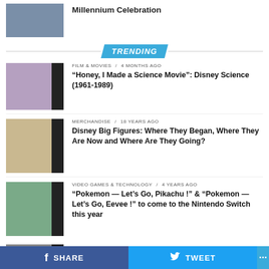[Figure (photo): Thumbnail image at top of page, partially visible]
Millennium Celebration
TRENDING
[Figure (photo): Thumbnail showing colorful display, film & movies article]
FILM & MOVIES / 4 months ago
“Honey, I Made a Science Movie”: Disney Science (1961-1989)
[Figure (photo): Thumbnail showing Pluto Disney figure, merchandise article]
MERCHANDISE / 18 years ago
Disney Big Figures: Where They Began, Where They Are Now and Where Are They Going?
[Figure (photo): Thumbnail showing Pokemon game screenshot]
VIDEO GAMES & TECHNOLOGY / 4 years ago
“Pokemon — Let’s Go, Pikachu !” & “Pokemon — Let’s Go, Eevee !” to come to the Nintendo Switch this year
[Figure (photo): Thumbnail partially visible, music theatre article]
MUSIC THEATRE, STAGE, & PERFORMANCE ART
SHARE  TWEET  ...